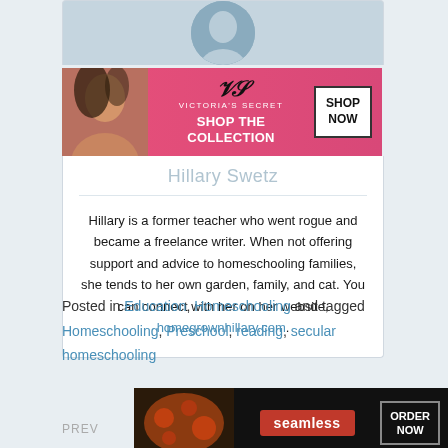[Figure (photo): Victoria's Secret advertisement banner with model, VS logo, 'SHOP THE COLLECTION' text and 'SHOP NOW' button]
Hillary Swetz
Hillary is a former teacher who went rogue and became a freelance writer. When not offering support and advice to homeschooling families, she tends to her own garden, family, and cat. You can connect with her on her website, homegrownhillary.com.
Posted in Education, Homeschooling and tagged Homeschooling, Preschool, reading, secular homeschooling
[Figure (photo): Seamless food delivery advertisement with pizza image, Seamless logo and 'ORDER NOW' button]
PREV ARTICLE
ARTICLE